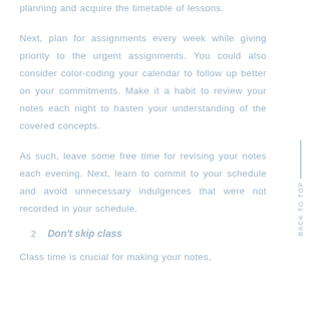planning and acquire the timetable of lessons.
Next, plan for assignments every week while giving priority to the urgent assignments. You could also consider color-coding your calendar to follow up better on your commitments. Make it a habit to review your notes each night to hasten your understanding of the covered concepts.
As such, leave some free time for revising your notes each evening. Next, learn to commit to your schedule and avoid unnecessary indulgences that were not recorded in your schedule.
2. Don't skip class
Class time is crucial for making your notes,